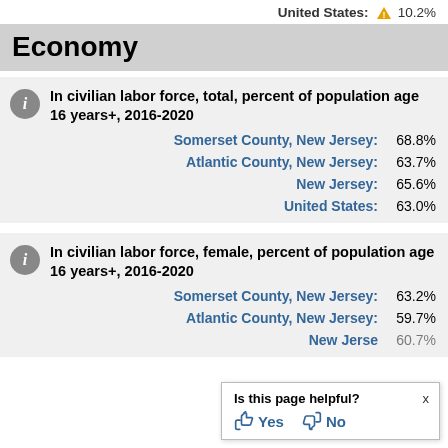United States: ⚠ 10.2%
Economy
In civilian labor force, total, percent of population age 16 years+, 2016-2020
Somerset County, New Jersey: 68.8%
Atlantic County, New Jersey: 63.7%
New Jersey: 65.6%
United States: 63.0%
In civilian labor force, female, percent of population age 16 years+, 2016-2020
Somerset County, New Jersey: 63.2%
Atlantic County, New Jersey: 59.7%